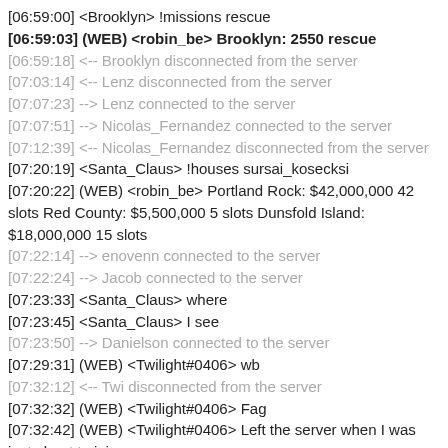[06:59:00] <Brooklyn> !missions rescue
[06:59:03] (WEB) <robin_be> Brooklyn: 2550 rescue
[06:59:18] <-- Brooklyn disconnected from the server
[07:03:14] <-- Lenz disconnected from the server
[07:07:23] --> Lenz connected to the server
[07:07:51] --> Nicolas_Fernandez connected to the server
[07:12:39] <-- Nicolas_Fernandez disconnected from the server
[07:20:19] <Santa_Claus> !houses sursai_kosecksi
[07:20:22] (WEB) <robin_be> Portland Rock: $42,000,000 42 slots Red County: $5,500,000 5 slots Dunsfold Island: $18,000,000 15 slots
[07:22:14] --> enovenn connected to the server
[07:22:24] --> Jacob connected to the server
[07:23:33] <Santa_Claus> where
[07:23:45] <Santa_Claus> I see
[07:23:50] --> Danielson connected to the server
[07:29:31] (WEB) <Twilight#0406> wb
[07:32:12] <-- Twi disconnected from the server
[07:32:32] (WEB) <Twilight#0406> Fag
[07:32:42] (WEB) <Twilight#0406> Left the server when I was just about to join
[07:32:45] --> Twi connected to the server
[07:32:47] (WEB) <midget#0266> foxtrot alpha golf
[07:32:50] <enovenn> lmao
[07:34:27] (WEB) <Firzdlow_#4662> Kilo Omega North Talon